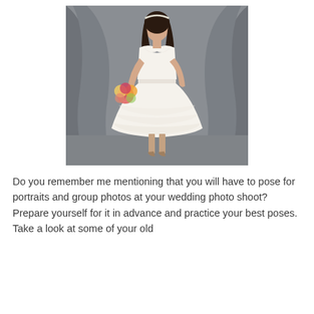[Figure (photo): A bride in a strapless, tea-length white lace and tulle wedding dress, holding a colorful bouquet, posing against a grey draped fabric background.]
Do you remember me mentioning that you will have to pose for portraits and group photos at your wedding photo shoot? Prepare yourself for it in advance and practice your best poses. Take a look at some of your old photos and identify the ones that you'd love to Reuse.